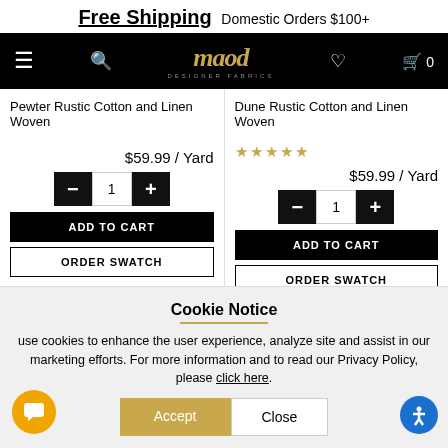Free Shipping Domestic Orders $100+
[Figure (logo): Mood Designer Fabrics logo on black navigation bar]
Pewter Rustic Cotton and Linen Woven
$59.99 / Yard
Dune Rustic Cotton and Linen Woven
★★★★★
$59.99 / Yard
Cookie Notice
use cookies to enhance the user experience, analyze site and assist in our marketing efforts. For more information and to read our Privacy Policy, please click here.